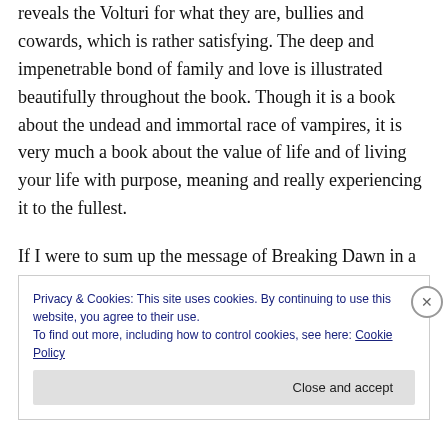reveals the Volturi for what they are, bullies and cowards, which is rather satisfying. The deep and impenetrable bond of family and love is illustrated beautifully throughout the book. Though it is a book about the undead and immortal race of vampires, it is very much a book about the value of life and of living your life with purpose, meaning and really experiencing it to the fullest.
If I were to sum up the message of Breaking Dawn in a single sentence, I would say: Violence, threats, bullying, and fear will always bow when it's met by love, encouragement, confidence, and hope.
Privacy & Cookies: This site uses cookies. By continuing to use this website, you agree to their use.
To find out more, including how to control cookies, see here: Cookie Policy